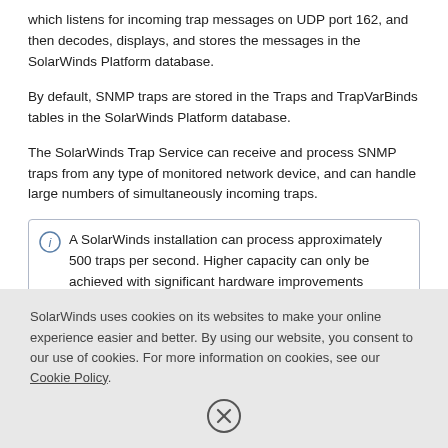which listens for incoming trap messages on UDP port 162, and then decodes, displays, and stores the messages in the SolarWinds Platform database.
By default, SNMP traps are stored in the Traps and TrapVarBinds tables in the SolarWinds Platform database.
The SolarWinds Trap Service can receive and process SNMP traps from any type of monitored network device, and can handle large numbers of simultaneously incoming traps.
A SolarWinds installation can process approximately 500 traps per second. Higher capacity can only be achieved with significant hardware improvements
SolarWinds uses cookies on its websites to make your online experience easier and better. By using our website, you consent to our use of cookies. For more information on cookies, see our Cookie Policy.